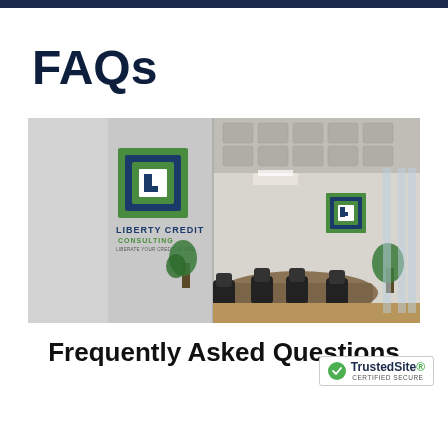FAQs
[Figure (photo): Office interior showing Liberty Credit Consulting branding on the wall, a conference table with chairs, and modern office decor with plants and glass partitions.]
Frequently Asked Questions